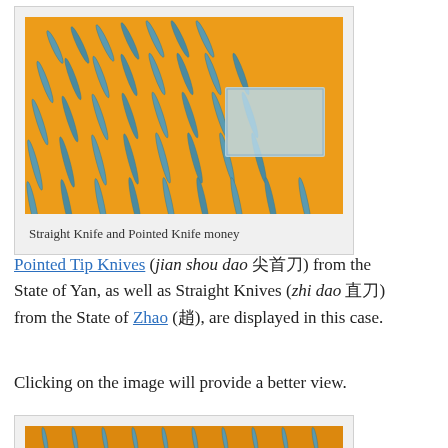[Figure (photo): Photo of multiple bronze Straight Knife and Pointed Knife money pieces arranged on an orange background in a display case]
Straight Knife and Pointed Knife money
Pointed Tip Knives (jian shou dao 尖首刀) from the State of Yan, as well as Straight Knives (zhi dao 直刀) from the State of Zhao (趙), are displayed in this case.
Clicking on the image will provide a better view.
[Figure (photo): Second photo showing a closer view of knife money pieces arranged on an orange background]